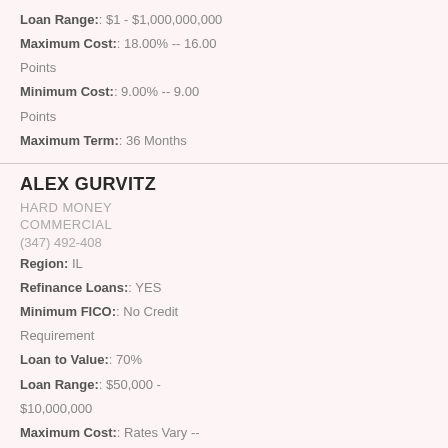Loan Range: : $1 - $1,000,000,000
Maximum Cost: : 18.00% -- 16.00 Points
Minimum Cost: : 9.00% -- 9.00 Points
Maximum Term: : 36 Months
ALEX GURVITZ
HARD MONEY
COMMERCIAL
(347) 492-408
Region: IL
Refinance Loans: : YES
Minimum FICO: : No Credit Requirement
Loan to Value: : 70%
Loan Range: : $50,000 - $10,000,000
Maximum Cost: : Rates Vary --